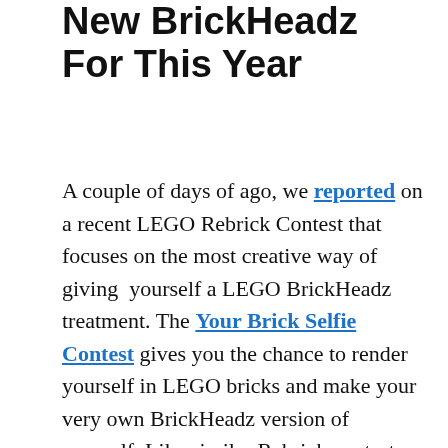New BrickHeadz For This Year
A couple of days of ago, we reported on a recent LEGO Rebrick Contest that focuses on the most creative way of giving yourself a LEGO BrickHeadz treatment. The Your Brick Selfie Contest gives you the chance to render yourself in LEGO bricks and make your very own BrickHeadz version of yourself. Like similar Rebrick contests, the selling point of these brick-building competitions are the prizes at stake. According to LEGO Rebrick's contest page, the Grand Prize Winner will bring home not just this year's first round of BrickHeadz sets, but also those that are yet to be